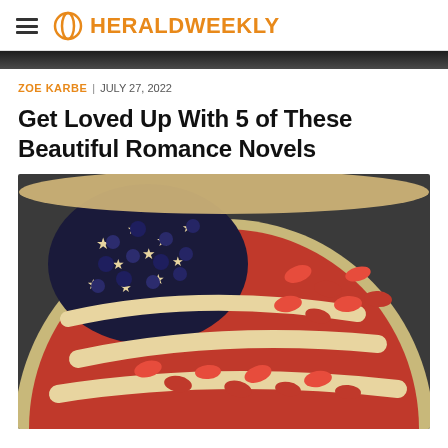HERALDWEEKLY
[Figure (photo): Top of article image strip — dark partial image cropped at top]
ZOE KARBE | JULY 27, 2022
Get Loved Up With 5 of These Beautiful Romance Novels
[Figure (photo): American flag-themed fruit pie with strawberries, blueberries, and pastry crust stars and stripes, photographed from above on a dark slate surface]